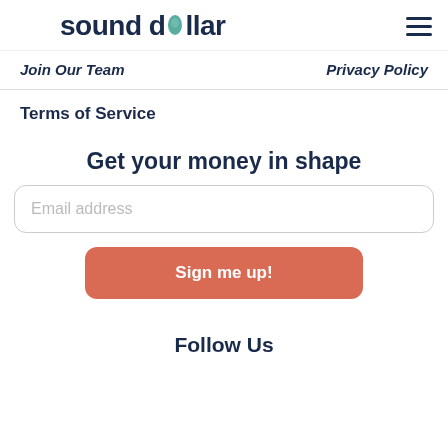sound dollar
Join Our Team
Privacy Policy
Terms of Service
Get your money in shape
Email address
Sign me up!
Follow Us